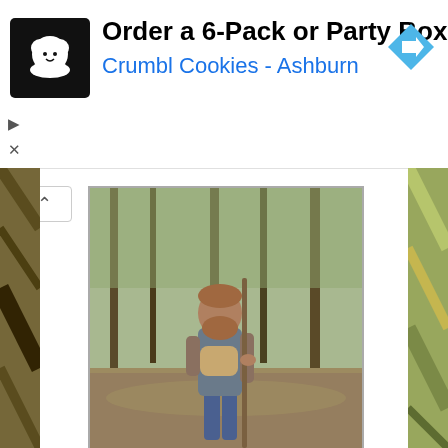[Figure (screenshot): Ad banner for Crumbl Cookies - Ashburn: Order a 6-Pack or Party Box]
[Figure (photo): Man with red beard standing in flooded wooded area, wearing jeans and a gray shirt with a baby carrier, holding a pole]
Ryan, my better half, made a big career change in June! He left the organic garden we had cared for for four years and took a job at a sustainable pastured sheep dairy! They have the best sheep milk cheese in